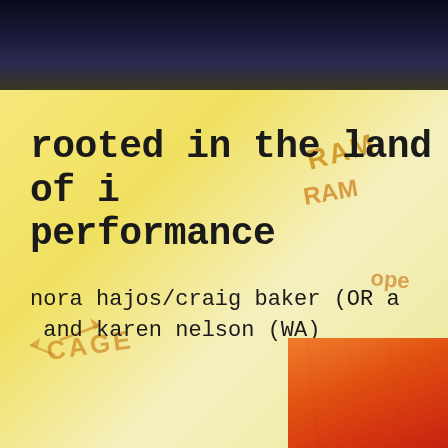[Figure (photo): Dark navy/black top band — photograph of a document or poster cropped at the top]
rooted in the land of i performance
nora hajos/craig baker (OR a and karen nelson (WA)
[Figure (photo): Yellow/cream background with handwritten graffiti-style text including words like CAGE, RAM, and directional arrows in orange/amber tone. Bottom right shows an orange-red photographic image detail.]